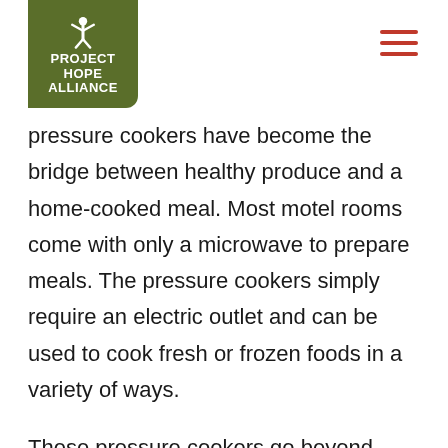[Figure (logo): Project Hope Alliance logo — olive green rounded rectangle with white figure icon and text reading PROJECT HOPE ALLIANCE]
pressure cookers have become the bridge between healthy produce and a home-cooked meal. Most motel rooms come with only a microwave to prepare meals. The pressure cookers simply require an electric outlet and can be used to cook fresh or frozen foods in a variety of ways.
These pressure cookers go beyond simply providing a basic need to our families. “Access to a kitchen no longer is a barrier these families have to face to provide